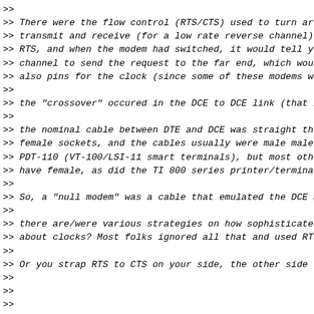>>
>> There were the flow control (RTS/CTS) used to turn aro
>> transmit and receive (for a low rate reverse channel).
>> RTS, and when the modem had switched, it would tell yo
>> channel to send the request to the far end, which wou.
>> also pins for the clock (since some of these modems we
>>
>> the "crossover" occured in the DCE to DCE link (that i
>>
>> the nominal cable between DTE and DCE was straight thr
>> female sockets, and the cables usually were male male
>> PDT-110 (VT-100/LSI-11 smart terminals), but most othe
>> have female, as did the TI 800 series printer/termina.
>>
>> So, a "null modem" was a cable that emulated the DCE m
>>
>> there are/were various strategies on how sophisticated
>> about clocks? Most folks ignored all that and used RTS
>>
>> Or you strap RTS to CTS on your side, the other side d
>>
>>
>>
>>
>>
>>> I think the phrase "standard cable" which could be nu
>>> depending on the use  is the confusing part.
>>> Phone cables RJ11 and RJ45 swap the wires which is sw
>>> cables match the wires with the same color always on
>>> is standard. But even when a phone cable is standard